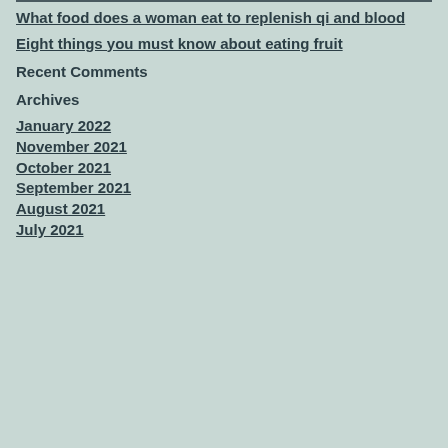What food does a woman eat to replenish qi and blood
Eight things you must know about eating fruit
Recent Comments
Archives
January 2022
November 2021
October 2021
September 2021
August 2021
July 2021